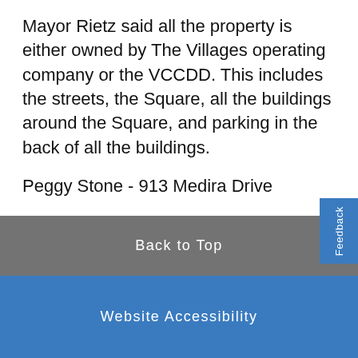Mayor Rietz said all the property is either owned by The Villages operating company or the VCCDD. This includes the streets, the Square, all the buildings around the Square, and parking in the back of all the buildings.
Peggy Stone - 913 Medira Drive
Ms. Stone concurred with Mr. Sheiman about delaying the decision. She said the
Back to Top
Website Accessibility